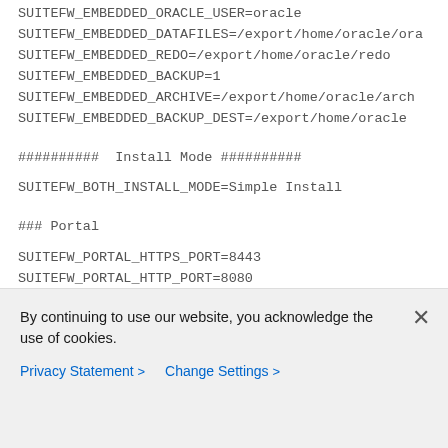SUITEFW_EMBEDDED_ORACLE_USER=oracle
SUITEFW_EMBEDDED_DATAFILES=/export/home/oracle/ora
SUITEFW_EMBEDDED_REDO=/export/home/oracle/redo
SUITEFW_EMBEDDED_BACKUP=1
SUITEFW_EMBEDDED_ARCHIVE=/export/home/oracle/arch
SUITEFW_EMBEDDED_BACKUP_DEST=/export/home/oracle
########## Install Mode ##########
SUITEFW_BOTH_INSTALL_MODE=Simple Install
### Portal
SUITEFW_PORTAL_HTTPS_PORT=8443
SUITEFW_PORTAL_HTTP_PORT=8080
SUITEFW_PORTAL_AJP_PORT=8009
SUITEFW_PORTAL_SHUTDOWN_PORT=8005
### IL
By continuing to use our website, you acknowledge the use of cookies.
Privacy Statement > Change Settings >